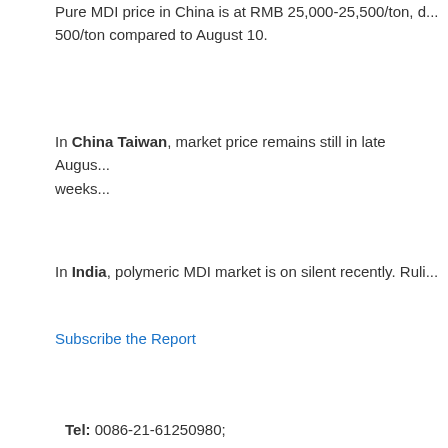Pure MDI price in China is at RMB 25,000-25,500/ton, d... 500/ton compared to August 10.
In China Taiwan, market price remains still in late Augus... weeks...
In India, polymeric MDI market is on silent recently. Ruli...
Subscribe the Report
Tel: 0086-21-61250980;